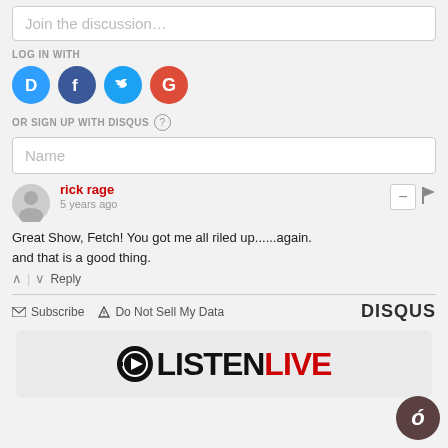Join the discussion…
LOG IN WITH
[Figure (other): Social login icons: Disqus (D), Facebook (f), Twitter bird, Google (G)]
OR SIGN UP WITH DISQUS ?
Name
rick rage
5 years ago
Great Show, Fetch! You got me all riled up......again. and that is a good thing.
▲ | ▼  Reply
✉ Subscribe  ▲ Do Not Sell My Data  DISQUS
[Figure (logo): LISTEN LIVE logo with play button icon]